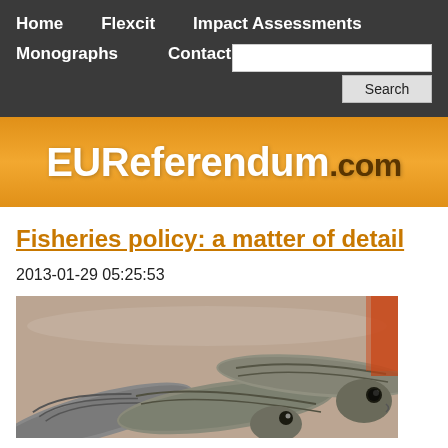Home   Flexcit   Impact Assessments   Monographs   Contact   Search
[Figure (logo): EUReferendum.com orange banner logo]
Fisheries policy: a matter of detail
2013-01-29 05:25:53
[Figure (photo): Close-up photo of fresh mackerel fish on display at a fish market]